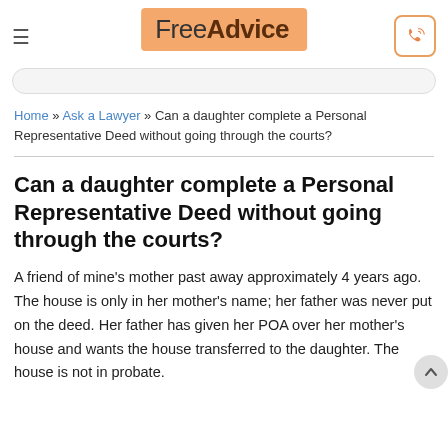FreeAdvice
Home » Ask a Lawyer » Can a daughter complete a Personal Representative Deed without going through the courts?
Can a daughter complete a Personal Representative Deed without going through the courts?
A friend of mine's mother past away approximately 4 years ago. The house is only in her mother's name; her father was never put on the deed. Her father has given her POA over her mother's house and wants the house transferred to the daughter. The house is not in probate.